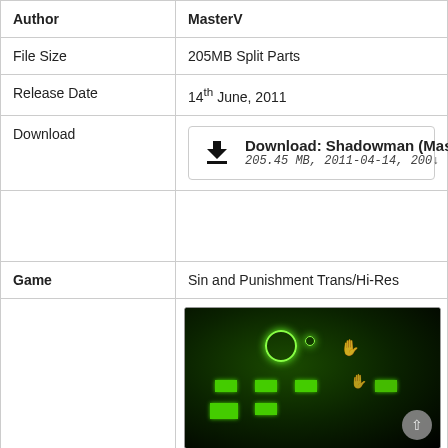| Field | Value |
| --- | --- |
| Author | MasterV |
| File Size | 205MB Split Parts |
| Release Date | 14th June, 2011 |
| Download | Download: Shadowman (MasterV)
205.45 MB, 2011-04-14, 200↓ |
|  |  |
| Game | Sin and Punishment Trans/Hi-Res |
|  | [screenshot of game] |
[Figure (screenshot): Dark green top-down game screenshot with glowing green tiles, orange hand icons, and colorful character at bottom right]